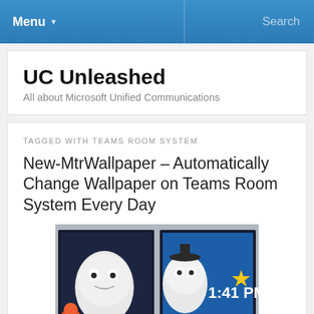Menu ▾   Search
UC Unleashed
All about Microsoft Unified Communications
TAGGED WITH TEAMS ROOM SYSTEM
New-MtrWallpaper – Automatically Change Wallpaper on Teams Room System Every Day
[Figure (photo): Two monitors side by side showing animated wallpaper on Teams Room System; left screen shows cartoon characters, right screen shows a character with a star and timestamp reading 1:41 PM on a blue background.]
Description